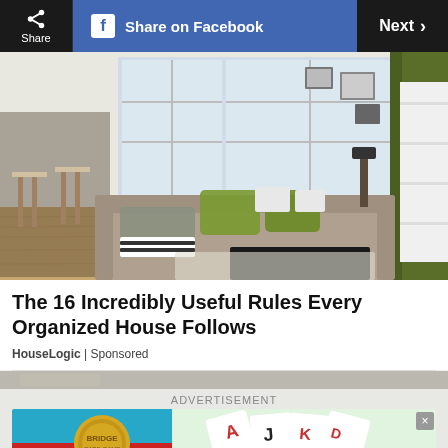Share | Share on Facebook | Next >
[Figure (photo): Interior photo of a modern, organized living room with large windows, a sectional sofa with green and grey pillows, a dark wood coffee table, bookshelves, and green curtains]
The 16 Incredibly Useful Rules Every Organized House Follows
HouseLogic | Sponsored
[Figure (photo): Partially visible next article preview image at the bottom]
ADVERTISEMENT
[Figure (photo): Advertisement banner for Bridge card game app showing playing cards and a gold seal logo]